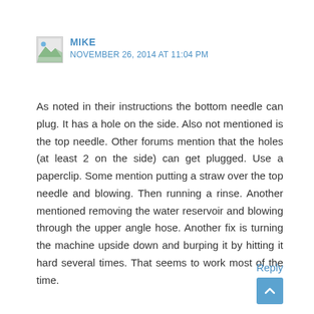MIKE
NOVEMBER 26, 2014 AT 11:04 PM
As noted in their instructions the bottom needle can plug. It has a hole on the side. Also not mentioned is the top needle. Other forums mention that the holes (at least 2 on the side) can get plugged. Use a paperclip. Some mention putting a straw over the top needle and blowing. Then running a rinse. Another mentioned removing the water reservoir and blowing through the upper angle hose. Another fix is turning the machine upside down and burping it by hitting it hard several times. That seems to work most of the time.
Reply